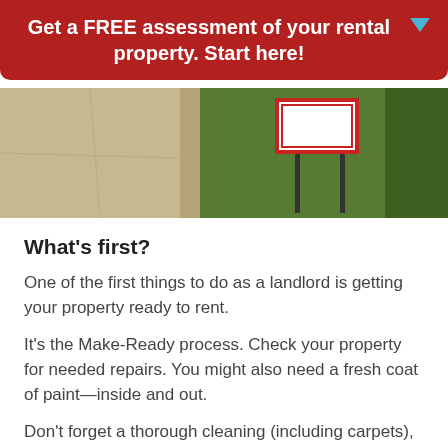Get a FREE assessment of your rental property. Start here!
[Figure (photo): Outdoor photo showing a driveway/concrete area and green lawn with a real estate sign (red-bordered) on a post]
What's first?
One of the first things to do as a landlord is getting your property ready to rent.
It's the Make-Ready process. Check your property for needed repairs. You might also need a fresh coat of paint—inside and out.
Don't forget a thorough cleaning (including carpets), new locks, and any other updates that might make your property more appealing to quality tenants.
When preparing your property for rent, it's a good time to